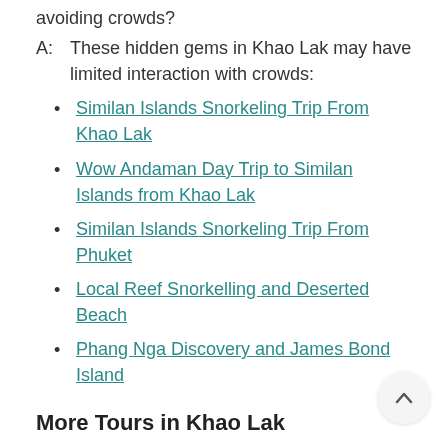avoiding crowds?
A: These hidden gems in Khao Lak may have limited interaction with crowds:
Similan Islands Snorkeling Trip From Khao Lak
Wow Andaman Day Trip to Similan Islands from Khao Lak
Similan Islands Snorkeling Trip From Phuket
Local Reef Snorkelling and Deserted Beach
Phang Nga Discovery and James Bond Island
More Tours in Khao Lak
Art & Culture | Food & Drink | Outdoor Activities | Extreme Sports | Nature and Wildlife Tours | On the Ground | On the Water | Catamaran Cruises | Coffee Cruises | Jet Boat Rentals |